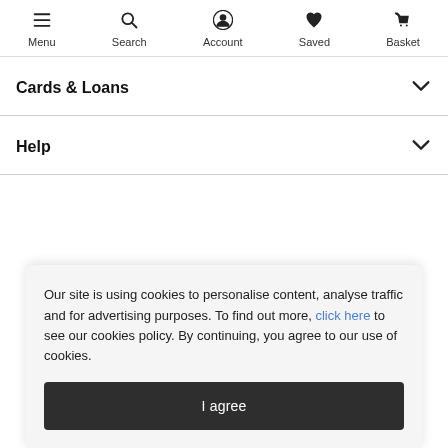Menu  Search  Account  Saved  Basket
Cards & Loans
Help
Our site is using cookies to personalise content, analyse traffic and for advertising purposes. To find out more, click here to see our cookies policy. By continuing, you agree to our use of cookies.
I agree